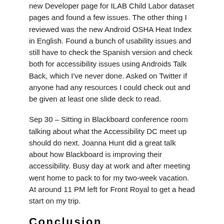new Developer page for ILAB Child Labor dataset pages and found a few issues. The other thing I reviewed was the new Android OSHA Heat Index in English. Found a bunch of usability issues and still have to check the Spanish version and check both for accessibility issues using Androids Talk Back, which I've never done. Asked on Twitter if anyone had any resources I could check out and be given at least one slide deck to read.
Sep 30 – Sitting in Blackboard conference room talking about what the Accessibility DC meet up should do next. Joanna Hunt did a great talk about how Blackboard is improving their accessibility. Busy day at work and after meeting went home to pack to for my two-week vacation. At around 11 PM left for Front Royal to get a head start on my trip.
Conclusion
In the future, I plan to post this information once a month at the beginning of the following month once I'm caught up.